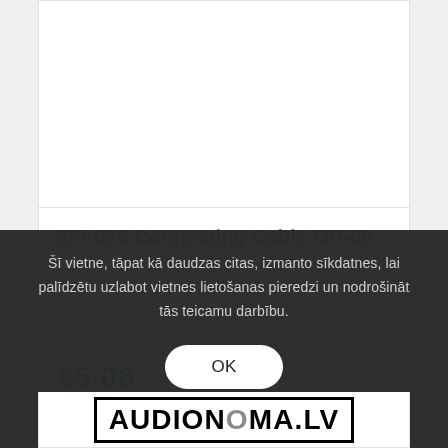2FA020 Connecting Cable MP-80
€5.08
Šī vietne, tāpat kā daudzas citas, izmanto sīkdatnes, lai palīdzētu uzlabot vietnes lietošanas pieredzi un nodrošināt tās teicamu darbību.
[Figure (logo): AUDIONOMA.LV logo in bold black text inside a rectangular border]